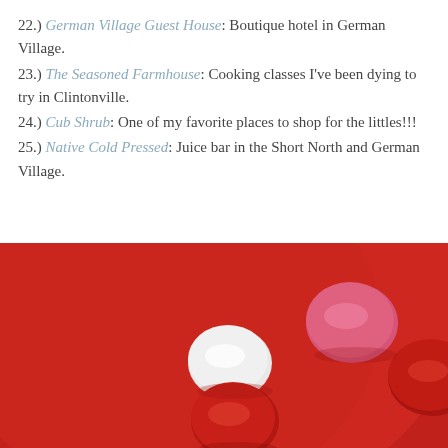22.) German Village Guest House: Boutique hotel in German Village.
23.) The Seasoned Farmhouse: Cooking classes I've been dying to try in Clintonville.
24.) Cub Shrub: One of my favorite places to shop for the littles!!!
25.) Native Cold Pressed: Juice bar in the Short North and German Village.
[Figure (photo): Close-up photo of colorful candy pieces (pink, white, red) on a red background/plate]